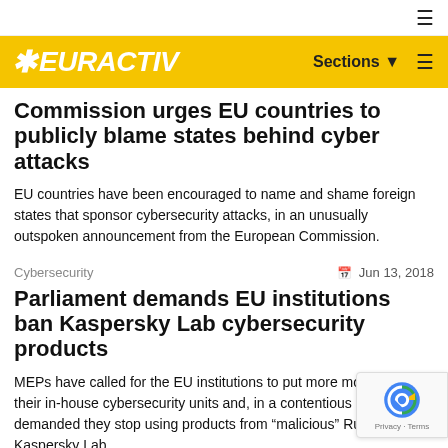EURACTIV — Sections
Commission urges EU countries to publicly blame states behind cyber attacks
EU countries have been encouraged to name and shame foreign states that sponsor cybersecurity attacks, in an unusually outspoken announcement from the European Commission.
Cybersecurity   Jun 13, 2018
Parliament demands EU institutions ban Kaspersky Lab cybersecurity products
MEPs have called for the EU institutions to put more money into their in-house cybersecurity units and, in a contentious move, also demanded they stop using products from "malicious" Russian firm Kaspersky Lab.